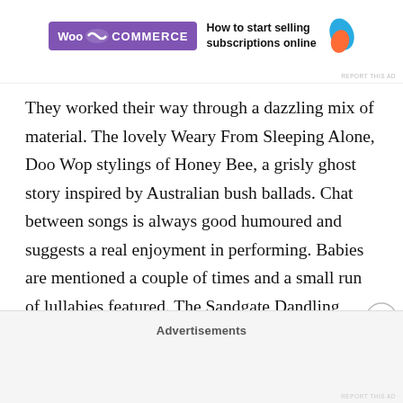[Figure (screenshot): WooCommerce advertisement banner with purple logo and text 'How to start selling subscriptions online'. Small 'REPORT THIS AD' text at bottom right.]
They worked their way through a dazzling mix of material. The lovely Weary From Sleeping Alone, Doo Wop stylings of Honey Bee, a grisly ghost story inspired by Australian bush ballads. Chat between songs is always good humoured and suggests a real enjoyment in performing. Babies are mentioned a couple of times and a small run of lullabies featured. The Sandgate Dandling Song is a highlight and one that turns up in different shapes in other places (even one of Cilla Black's hits). Its fusion of pride, love and desperate sadness makes it perfect for The
Advertisements